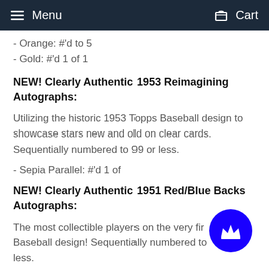Menu   Cart
- Orange: #'d to 5
- Gold: #'d 1 of 1
NEW! Clearly Authentic 1953 Reimagining Autographs:
Utilizing the historic 1953 Topps Baseball design to showcase stars new and old on clear cards. Sequentially numbered to 99 or less.
- Sepia Parallel: #'d 1 of
NEW! Clearly Authentic 1951 Red/Blue Backs Autographs:
The most collectible players on the very first Topps Baseball design! Sequentially numbered to less.